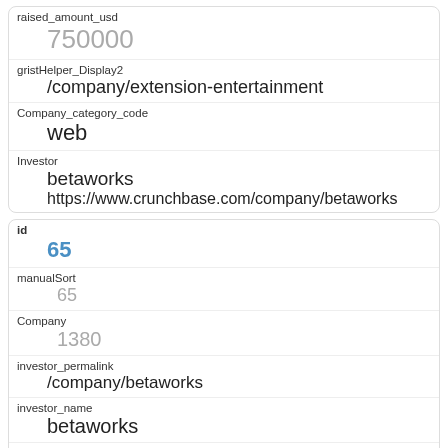| raised_amount_usd | 750000 |
| gristHelper_Display2 | /company/extension-entertainment |
| Company_category_code | web |
| Investor | betaworks
https://www.crunchbase.com/company/betaworks |
| id | 65 |
| manualSort | 65 |
| Company | 1380 |
| investor_permalink | /company/betaworks |
| investor_name | betaworks |
| investor_category_code |  |